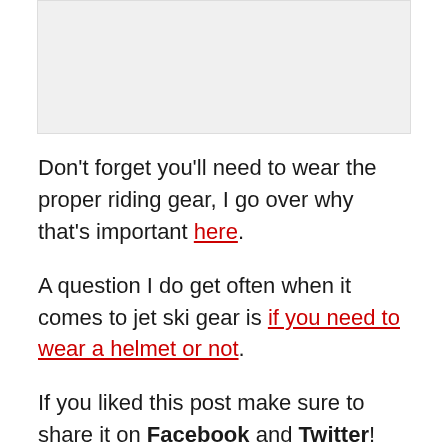[Figure (photo): Placeholder image area at top of page, light gray background]
Don't forget you'll need to wear the proper riding gear, I go over why that's important here.
A question I do get often when it comes to jet ski gear is if you need to wear a helmet or not.
If you liked this post make sure to share it on Facebook and Twitter!
[Figure (photo): Partial photo at bottom of page, appears to show outdoor/nature scene]